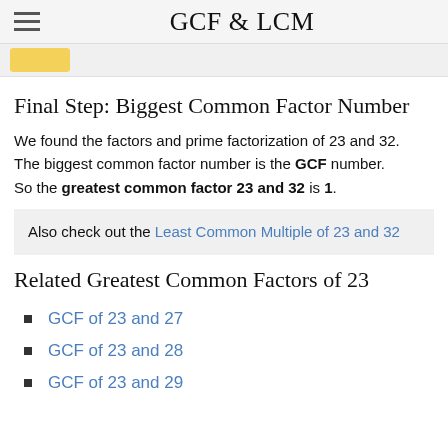GCF & LCM
[Figure (illustration): Partial yellow logo/icon visible at top of content area]
Final Step: Biggest Common Factor Number
We found the factors and prime factorization of 23 and 32. The biggest common factor number is the GCF number. So the greatest common factor 23 and 32 is 1.
Also check out the Least Common Multiple of 23 and 32
Related Greatest Common Factors of 23
GCF of 23 and 27
GCF of 23 and 28
GCF of 23 and 29